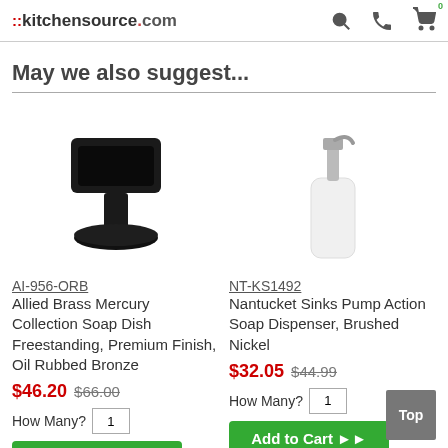::kitchensource.com
May we also suggest...
[Figure (photo): Black freestanding soap dish on pedestal base - Allied Brass Mercury Collection]
AI-956-ORB
Allied Brass Mercury Collection Soap Dish Freestanding, Premium Finish, Oil Rubbed Bronze
$46.20  $66.00
How Many? 1
Add to Cart
[Figure (photo): Brushed nickel pump action soap dispenser bottle - Nantucket Sinks]
NT-KS1492
Nantucket Sinks Pump Action Soap Dispenser, Brushed Nickel
$32.05  $44.99
How Many? 1
Add to Cart